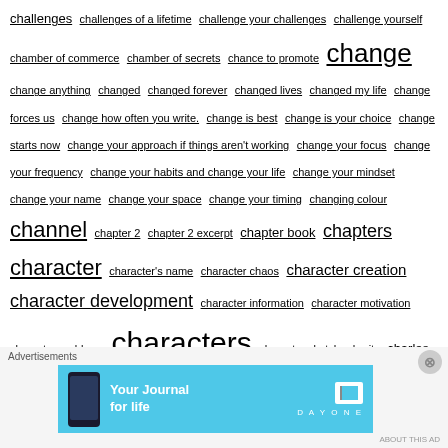challenges challenges of a lifetime challenge your challenges challenge yourself chamber of commerce chamber of secrets chance to promote change change anything changed changed forever changed lives changed my life change forces us change how often you write. change is best change is your choice change starts now change your approach if things aren't working change your focus change your frequency change your habits and change your life change your mindset change your name change your space change your timing changing colour channel chapter 2 chapter 2 excerpt chapter book chapters character character's name character chaos character creation character development character information character motivation character problems characters character sketch charity charles dickens charm bracelet chart chase their tails cheat sheet check checklist checklists for authors checkmate check this out cheese chess chi bui child childhood childhood memory children children's book children's book covers children's books children's book writing children's book writing masterclass children's book writing
[Figure (other): Advertisement banner for Day One journal app with blue background, phone image, text 'Your Journal for life' and Day One logo]